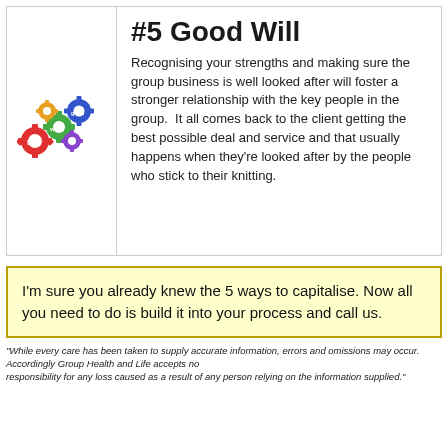#5 Good Will
Recognising your strengths and making sure the group business is well looked after will foster a stronger relationship with the key people in the group.  It all comes back to the client getting the best possible deal and service and that usually happens when they're looked after by the people who stick to their knitting.
I'm sure you already knew the 5 ways to capitalise. Now all you need to do is build it into your process and call us.
"While every care has been taken to supply accurate information, errors and omissions may occur. Accordingly Group Health and Life accepts no responsibility for any loss caused as a result of any person relying on the information supplied."